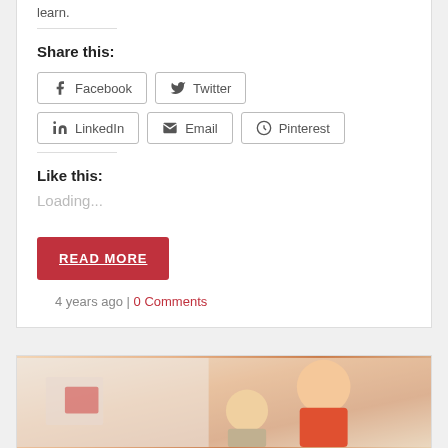learn.
Share this:
Facebook
Twitter
LinkedIn
Email
Pinterest
Like this:
Loading...
READ MORE
4 years ago | 0 Comments
[Figure (photo): Children in a classroom setting, one boy wearing an orange shirt visible in foreground]